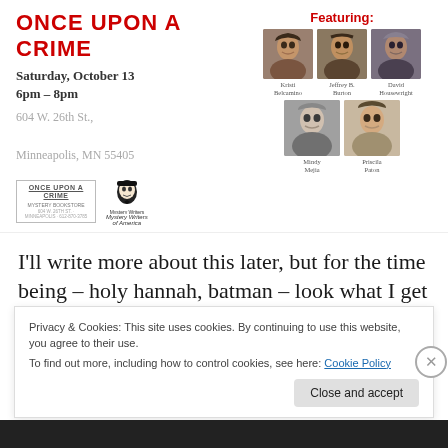ONCE UPON A CRIME
Saturday, October 13
6pm – 8pm
604 W. 26th St.,
Minneapolis, MN 55405
[Figure (logo): Once Upon a Crime Mystery Bookstore logo]
[Figure (logo): Mystery Writers of America logo with Poe illustration]
Featuring:
[Figure (photo): Headshot photos of five authors: Kristi Belcamino, Jeffrey B. Burton, David Housewright, Mindy Mejia, Priscila Paton]
I'll write more about this later, but for the time being – holy hannah, batman – look what I get to emcee in October! Save the date!  I hear a rumor there will be brownies.  Or
Privacy & Cookies: This site uses cookies. By continuing to use this website, you agree to their use.
To find out more, including how to control cookies, see here: Cookie Policy